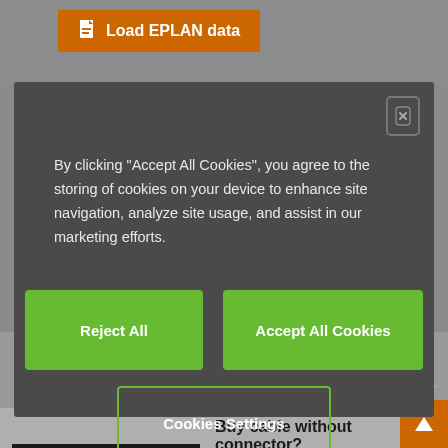[Figure (screenshot): Website header with orange 'Load EPLAN data' button on grey background]
[Figure (screenshot): Cookie consent modal dialog with dark grey background, close button (X), cookie consent text, three green buttons: Reject All, Accept All Cookies, and Cookies Settings]
By clicking “Accept All Cookies”, you agree to the storing of cookies on your device to enhance site navigation, analyze site usage, and assist in our marketing efforts.
Reject All
Accept All Cookies
Cookies Settings
applications worldwide.
Buy cable without connector?
Are you looking for a cable that has not yet been harnessed? If so, visit our chainflex® shop.